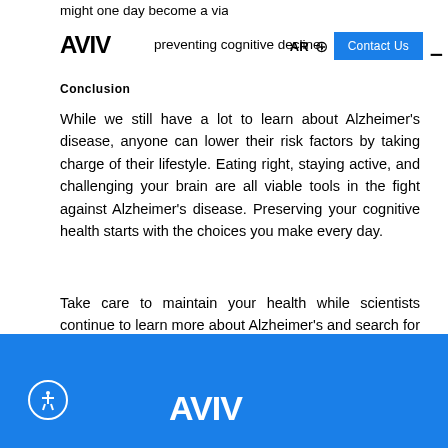might one day become a viable drug-free method for preventing cognitive decline.
Conclusion
While we still have a lot to learn about Alzheimer's disease, anyone can lower their risk factors by taking charge of their lifestyle. Eating right, staying active, and challenging your brain are all viable tools in the fight against Alzheimer's disease. Preserving your cognitive health starts with the choices you make every day.
Take care to maintain your health while scientists continue to learn more about Alzheimer's and search for a cure.
AVIV logo and accessibility icon